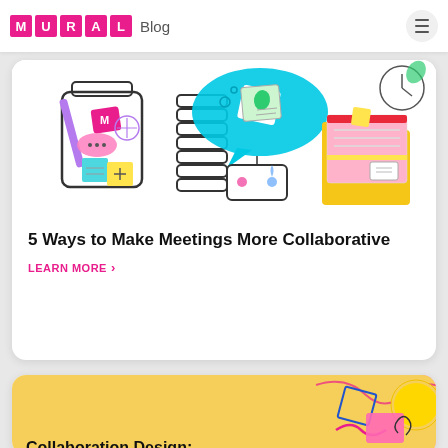MURAL Blog
[Figure (illustration): Colorful illustration showing collaborative tools: a jar with sticky notes and a pencil, stacked cups, a speech bubble with a sticky note, a flowchart diagram, and a file folder — representing meeting collaboration concepts]
5 Ways to Make Meetings More Collaborative
LEARN MORE >
[Figure (illustration): Colorful card with yellow-to-pink gradient background showing decorative design elements — beginning of a second blog post card]
Collaboration Design: